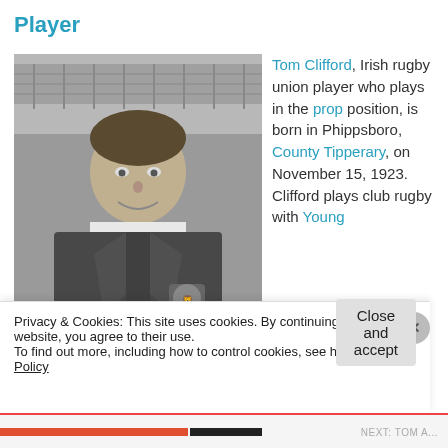Player
[Figure (photo): Black and white photo of Tom Clifford, a rugby union player, wearing a blazer with a crest/badge, smiling at the camera.]
Tom Clifford, Irish rugby union player who plays in the prop position, is born in Phippsboro, County Tipperary, on November 15, 1923. Clifford plays club rugby with Young
Privacy & Cookies: This site uses cookies. By continuing to use this website, you agree to their use.
To find out more, including how to control cookies, see here: Cookie Policy
Close and accept